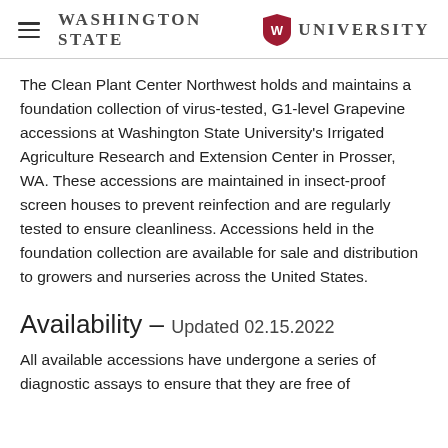Washington State University
The Clean Plant Center Northwest holds and maintains a foundation collection of virus-tested, G1-level Grapevine accessions at Washington State University’s Irrigated Agriculture Research and Extension Center in Prosser, WA. These accessions are maintained in insect-proof screen houses to prevent reinfection and are regularly tested to ensure cleanliness. Accessions held in the foundation collection are available for sale and distribution to growers and nurseries across the United States.
Availability – Updated 02.15.2022
All available accessions have undergone a series of diagnostic assays to ensure that they are free of